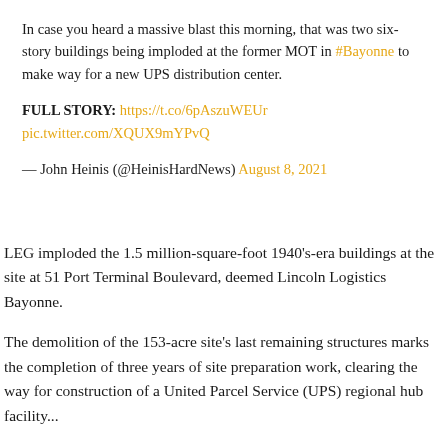In case you heard a massive blast this morning, that was two six-story buildings being imploded at the former MOT in #Bayonne to make way for a new UPS distribution center.
FULL STORY: https://t.co/6pAszuWEUr pic.twitter.com/XQUX9mYPvQ
— John Heinis (@HeinisHardNews) August 8, 2021
LEG imploded the 1.5 million-square-foot 1940's-era buildings at the site at 51 Port Terminal Boulevard, deemed Lincoln Logistics Bayonne.
The demolition of the 153-acre site's last remaining structures marks the completion of three years of site preparation work, clearing the way for construction of a United Parcel Service (UPS) regional hub facility...